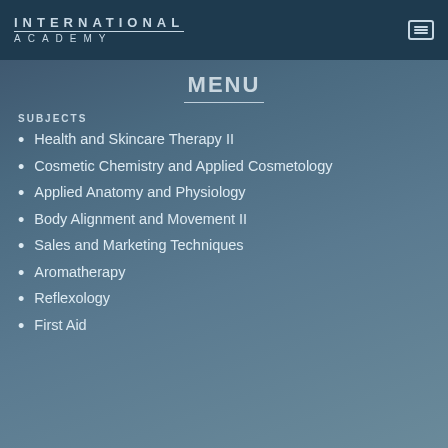INTERNATIONAL ACADEMY
SUBJECTS
Health and Skincare Therapy II
Cosmetic Chemistry and Applied Cosmetology
Applied Anatomy and Physiology
Body Alignment and Movement II
Sales and Marketing Techniques
Aromatherapy
Reflexology
First Aid